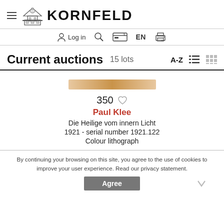KORNFELD — Log in — EN
Current auctions  15 lots
[Figure (illustration): Thin horizontal artwork preview image in warm tan/gold tones representing a lithograph thumbnail]
350
Paul Klee
Die Heilige vom innern Licht
1921 - serial number 1921.122
Colour lithograph
By continuing your browsing on this site, you agree to the use of cookies to improve your user experience. Read our privacy statement.
Agree